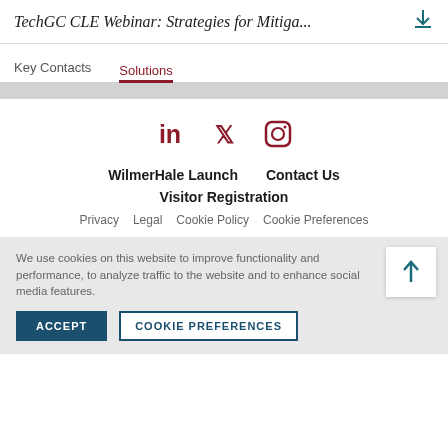TechGC CLE Webinar: Strategies for Mitiga...
Key Contacts
Solutions
[Figure (other): Social media icons: LinkedIn, Twitter, Instagram in dark red]
WilmerHale Launch    Contact Us
Visitor Registration
Privacy    Legal    Cookie Policy    Cookie Preferences
We use cookies on this website to improve functionality and performance, to analyze traffic to the website and to enhance social media features.
ACCEPT    COOKIE PREFERENCES